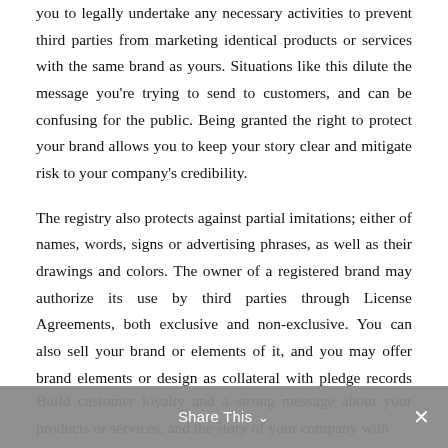you to legally undertake any necessary activities to prevent third parties from marketing identical products or services with the same brand as yours. Situations like this dilute the message you're trying to send to customers, and can be confusing for the public. Being granted the right to protect your brand allows you to keep your story clear and mitigate risk to your company's credibility.
The registry also protects against partial imitations; either of names, words, signs or advertising phrases, as well as their drawings and colors. The owner of a registered brand may authorize its use by third parties through License Agreements, both exclusive and non-exclusive. You can also sell your brand or elements of it, and you may offer brand elements or design as collateral with pledge records you may make.
Build customer loyalty and a strong message about your products or services, and the story of your company with
Share This